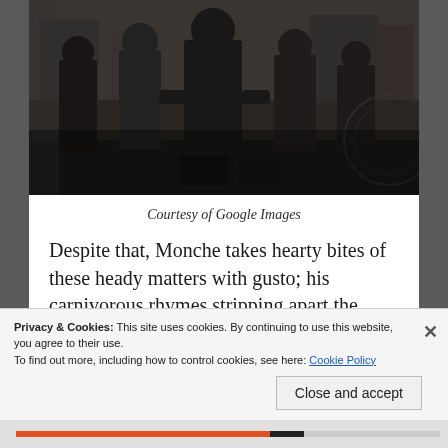[Figure (photo): Group photo of several people dressed in dark/leather clothing standing in an urban setting, dark toned image]
Courtesy of Google Images
Despite that, Monche takes hearty bites of these heady matters with gusto; his carnivorous rhymes stripping apart the haters and competition alike with piranha-toothed glee, backed by the dual
Privacy & Cookies: This site uses cookies. By continuing to use this website, you agree to their use.
To find out more, including how to control cookies, see here: Cookie Policy
Close and accept